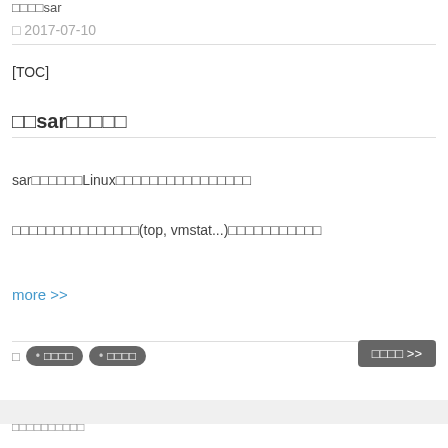□□□□sar
□ 2017-07-10
[TOC]
□□sar□□□□□
sar□□□□□□Linux□□□□□□□□□□□□□□□□
□□□□□□□□□□□□□□□(top, vmstat...)□□□□□□□□□□□
more >>
□  • □□□□  • □□□□
□□□□ >>
□□□□□□□□□□